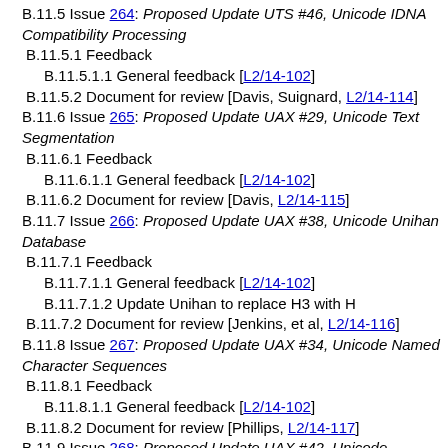B.11.5 Issue 264: Proposed Update UTS #46, Unicode IDNA Compatibility Processing
B.11.5.1 Feedback
B.11.5.1.1 General feedback [L2/14-102]
B.11.5.2 Document for review [Davis, Suignard, L2/14-114]
B.11.6 Issue 265: Proposed Update UAX #29, Unicode Text Segmentation
B.11.6.1 Feedback
B.11.6.1.1 General feedback [L2/14-102]
B.11.6.2 Document for review [Davis, L2/14-115]
B.11.7 Issue 266: Proposed Update UAX #38, Unicode Unihan Database
B.11.7.1 Feedback
B.11.7.1.1 General feedback [L2/14-102]
B.11.7.1.2 Update Unihan to replace H3 with H
B.11.7.2 Document for review [Jenkins, et al, L2/14-116]
B.11.8 Issue 267: Proposed Update UAX #34, Unicode Named Character Sequences
B.11.8.1 Feedback
B.11.8.1.1 General feedback [L2/14-102]
B.11.8.2 Document for review [Phillips, L2/14-117]
B.11.9 Issue 268: Proposed Update UAX #42, Unicode Character Database in XML
B.11.9.1 Feedback
B.11.9.1.1 General feedback [L2/14-102]